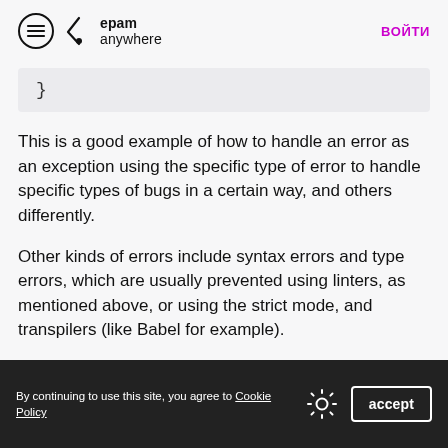epam anywhere | ВОЙТИ
}
This is a good example of how to handle an error as an exception using the specific type of error to handle specific types of bugs in a certain way, and others differently.
Other kinds of errors include syntax errors and type errors, which are usually prevented using linters, as mentioned above, or using the strict mode, and transpilers (like Babel for example).
By continuing to use this site, you agree to Cookie Policy  [gear icon]  accept